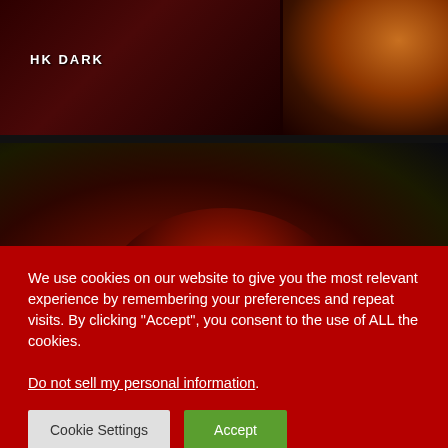[Figure (photo): Top portion of a concert/music scene with dark red background and text 'HK DARK' on left side, orange/warm colored element on right side]
[Figure (photo): Concert photo showing a performer with red lighting and green stage lights, dark atmospheric background]
We use cookies on our website to give you the most relevant experience by remembering your preferences and repeat visits. By clicking “Accept”, you consent to the use of ALL the cookies.
Do not sell my personal information.
Cookie Settings
Accept